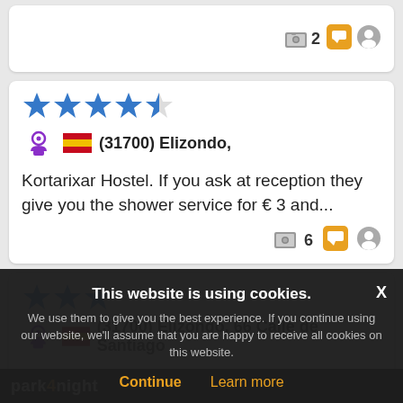[Figure (screenshot): Top partial card with photo icon, number 2, orange chat icon, and grey circle icon on the right]
★★★★☆ (31700) Elizondo, — Kortarixar Hostel. If you ask at reception they give you the shower service for € 3 and... [6 photos, comments, profile icons]
★★★ (31700) Elizondo, 66 Calle de Santiago — Self-service laundry. €3 washing machine 40 minutes €1 tumble dryer 15 minutes local... [1 photo, comments, profile icons]
This website is using cookies. We use them to give you the best experience. If you continue using our website, we'll assume that you are happy to receive all cookies on this website. Continue  Learn more
park4night